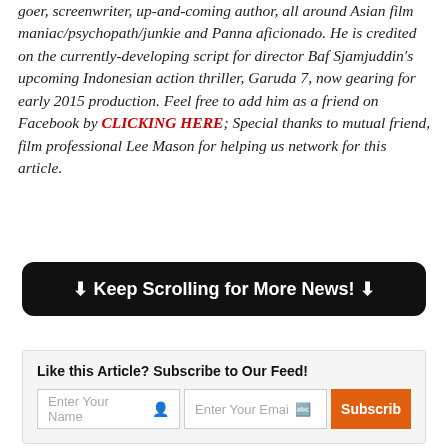goer, screenwriter, up-and-coming author, all around Asian film maniac/psychopath/junkie and Panna aficionado. He is credited on the currently-developing script for director Baf Sjamjuddin's upcoming Indonesian action thriller, Garuda 7, now gearing for early 2015 production. Feel free to add him as a friend on Facebook by CLICKING HERE; Special thanks to mutual friend, film professional Lee Mason for helping us network for this article.
⬇ Keep Scrolling for More News! ⬇
Like this Article? Subscribe to Our Feed!
Enter Your Name | Enter Your Email | Subscribe